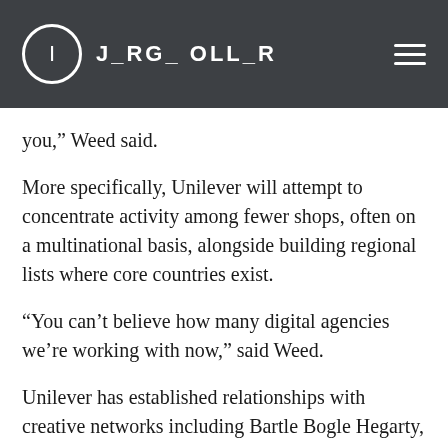J_RG_ OLL_R
you,” Weed said.
More specifically, Unilever will attempt to concentrate activity among fewer shops, often on a multinational basis, alongside building regional lists where core countries exist.
“You can’t believe how many digital agencies we’re working with now,” said Weed.
Unilever has established relationships with creative networks including Bartle Bogle Hegarty, DDB, JWT, Lowe McCann and Ogilvy, and hopes to replicate this model in the new media world.
“We’ve had relationships with them for decades,” said Weed. “I want to be where there’s innovation,